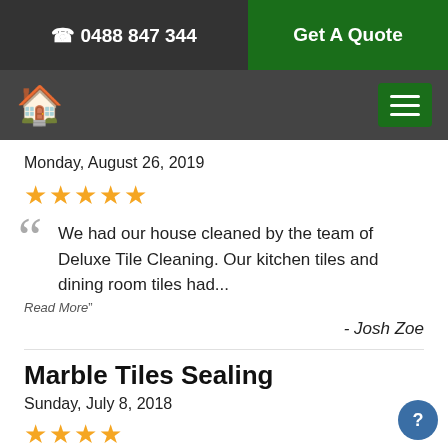📞 0488 847 344 | Get A Quote
[Figure (screenshot): Navigation bar with green home icon and green hamburger menu button on dark background]
Monday, August 26, 2019
★★★★★
"We had our house cleaned by the team of Deluxe Tile Cleaning. Our kitchen tiles and dining room tiles had... Read More"
- Josh Zoe
Marble Tiles Sealing
Sunday, July 8, 2018
★★★★